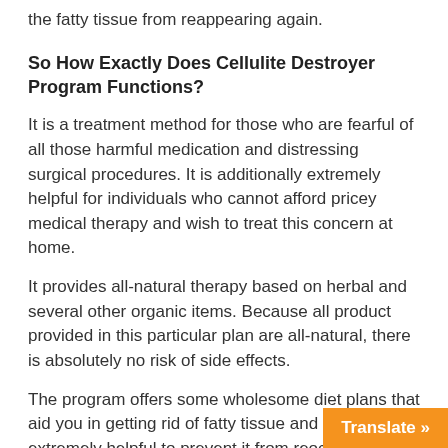the fatty tissue from reappearing again.
So How Exactly Does Cellulite Destroyer Program Functions?
It is a treatment method for those who are fearful of all those harmful medication and distressing surgical procedures. It is additionally extremely helpful for individuals who cannot afford pricey medical therapy and wish to treat this concern at home.
It provides all-natural therapy based on herbal and several other organic items. Because all product provided in this particular plan are all-natural, there is absolutely no risk of side effects.
The program offers some wholesome diet plans that aid you in getting rid of fatty tissue and it is extremely helpful to prevent it from reoccurring.